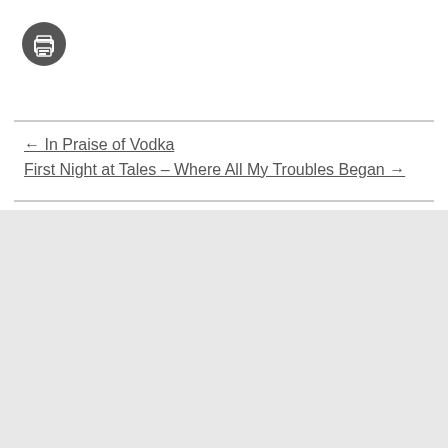[Figure (illustration): A dark gray circle icon with a printer symbol (white printer outline) in the center]
← In Praise of Vodka
First Night at Tales – Where All My Troubles Began →